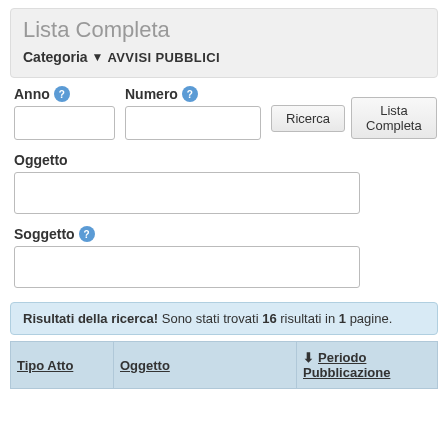Lista Completa
Categoria ▼ AVVISI PUBBLICI
Anno
Numero
Oggetto
Soggetto
Risultati della ricerca! Sono stati trovati 16 risultati in 1 pagine.
| Tipo Atto | Oggetto | Periodo Pubblicazione |
| --- | --- | --- |